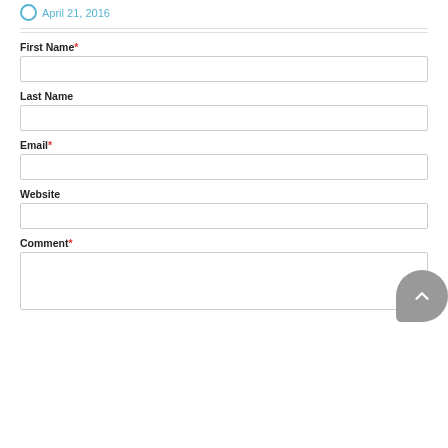April 21, 2016
First Name*
Last Name
Email*
Website
Comment*